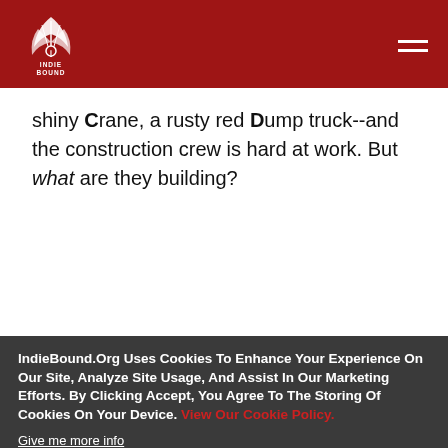IndieBound logo and navigation header
shiny Crane, a rusty red Dump truck--and the construction crew is hard at work. But what are they building?
IndieBound.Org Uses Cookies To Enhance Your Experience On Our Site, Analyze Site Usage, And Assist In Our Marketing Efforts. By Clicking Accept, You Agree To The Storing Of Cookies On Your Device. View Our Cookie Policy.
Give me more info
Accept all Cookies